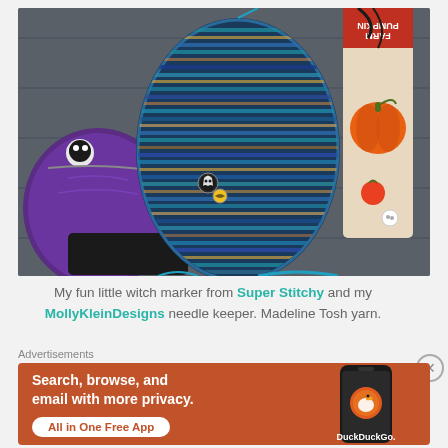[Figure (photo): A knitting work-in-progress photo showing a blue/teal/multicolored knitted mitten or sock in progress with enameled pins (witch and ghost markers), a purple fabric project bag with a Jack Skellington charm, a decorative bookmarker/needle keeper with a pumpkin farm design, and teal/dark yarn on a gray wooden surface.]
My fun little witch marker from Super Stitchy and my MollyKleinDesigns needle keeper. Madeline Tosh yarn.
Advertisements
[Figure (screenshot): DuckDuckGo advertisement banner with orange background. Left side text: 'Search, browse, and email with more privacy. All in One Free App'. Right side shows a smartphone with DuckDuckGo logo and brand name.]